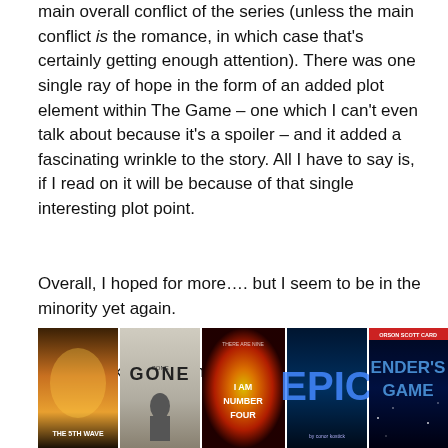main overall conflict of the series (unless the main conflict is the romance, in which case that's certainly getting enough attention). There was one single ray of hope in the form of an added plot element within The Game – one which I can't even talk about because it's a spoiler – and it added a fascinating wrinkle to the story. All I have to say is, if I read on it will be because of that single interesting plot point.
Overall, I hoped for more…. but I seem to be in the minority yet again.
Other books you might like:
[Figure (photo): A horizontal strip of five book covers: The 5th Wave, Gone, I Am Number Four, Epic, and Ender's Game]